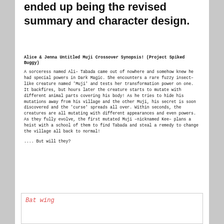ended up being the revised summary and character design.
Alice & Jenna Untitled Muji Crossover Synopsis! (Project Spiked Buggy)
A sorceress named Ali– Tabada came out of nowhere and somehow knew he had special powers in Dark Magic. She encounters a rare fuzzy insect– like creature named 'Muji' and tests her transformation power on one. It backfires, but hours later the creature starts to mutate with different animal parts covering his body! As he tries to hide his mutations away from his village and the other Muji, his secret is soon discovered and the 'curse' spreads all over. Within seconds, the creatures are all mutating with different appearances and even powers. As they fully evolve, the first mutated Muji –nicknamed Kee– plans a heist with a school of them to find Tabada and steal a remedy to change the village all back to normal!
.... But will they?
[Figure (illustration): Handwritten note in red/pink ink reading 'Bat wing' with additional handwritten text below, inside a bordered box at the bottom of the page.]